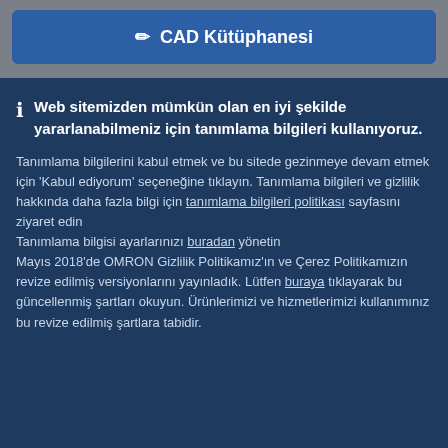✏ CAD Kütüphanesi
Web sitemizden mümkün olan en iyi şekilde yararlanabilmeniz için tanımlama bilgileri kullanıyoruz.
Tanımlama bilgilerini kabul etmek ve bu sitede gezinmeye devam etmek için 'Kabul ediyorum' seçeneğine tıklayın. Tanımlama bilgileri ve gizlilik hakkında daha fazla bilgi için tanımlama bilgileri politikası sayfasını ziyaret edin
Tanımlama bilgisi ayarlarınızı buradan yönetin
Mayıs 2018'de OMRON Gizlilik Politikamız'ın ve Çerez Politikamızın revize edilmiş versiyonlarını yayınladık. Lütfen buraya tıklayarak bu güncellenmiş şartları okuyun. Ürünlerimizi ve hizmetlerimizi kullanımınız bu revize edilmiş şartlara tabidir.
Kabul et